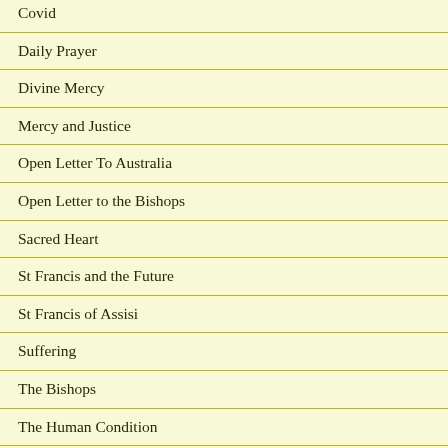Covid
Daily Prayer
Divine Mercy
Mercy and Justice
Open Letter To Australia
Open Letter to the Bishops
Sacred Heart
St Francis and the Future
St Francis of Assisi
Suffering
The Bishops
The Human Condition
The Personality Of Jesus